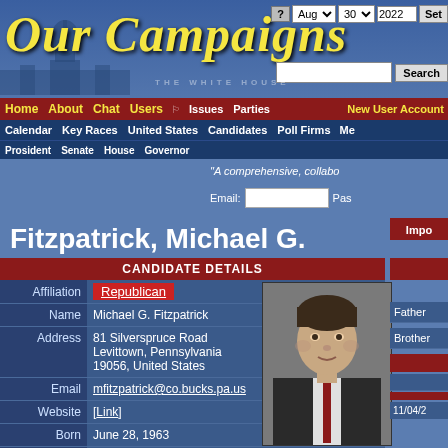Our Campaigns
? | Aug | 30 | 2022 | Set
Search
Home About Chat Users | Issues Parties | New User Account
Calendar Key Races United States | President Senate House Governors
"A comprehensive, collabo
Email: [input] Pas
Fitzpatrick, Michael G.
CANDIDATE DETAILS
| Field | Value |
| --- | --- |
| Affiliation | Republican |
| Name | Michael G. Fitzpatrick |
| Address | 81 Silverspruce Road
Levittown, Pennsylvania
19056, United States |
| Email | mfitzpatrick@co.bucks.pa.us |
| Website | [Link] |
| Born | June 28, 1963 |
| Died | January 06, 2020 (56 years) |
[Figure (photo): Headshot photo of Michael G. Fitzpatrick, a middle-aged man with dark hair wearing a suit and tie]
Impo
Father
Brother
11/04/2